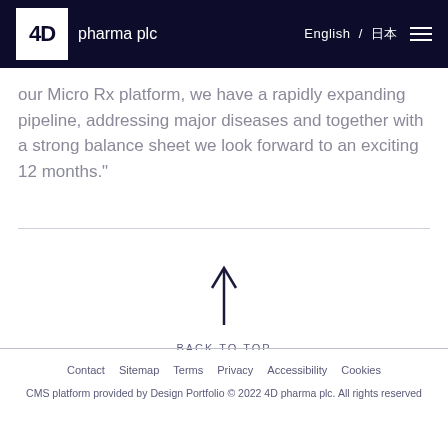4D pharma plc | English / [JP] ☰
our Micro Rx platform, we have a rapidly expanding pipeline, addressing major diseases and together with a strong balance sheet we look forward to an exciting 12 months."
[Figure (infographic): Up arrow icon with BACK TO TOP label]
Contact  Sitemap  Terms  Privacy  Accessibility  Cookies
CMS platform provided by Design Portfolio © 2022 4D pharma plc. All rights reserved